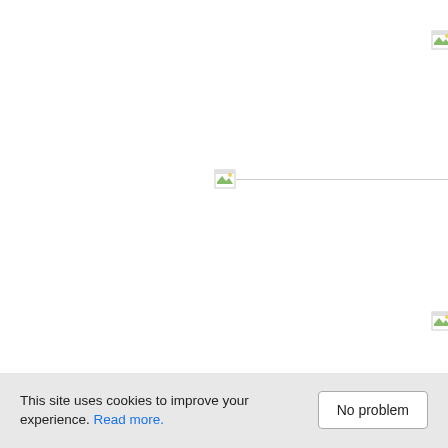[Figure (other): Broken image placeholder icon in top-right area]
[Figure (other): Broken image placeholder icon with horizontal rule line extending to the right, in the middle of the page]
[Figure (other): Broken image placeholder icon in lower-right area]
This site uses cookies to improve your experience. Read more. No problem